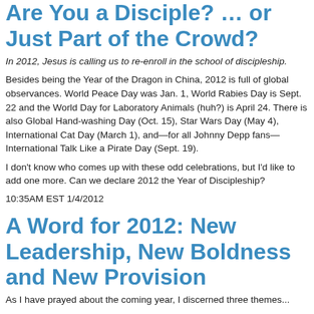Are You a Disciple? … or Just Part of the Crowd?
In 2012, Jesus is calling us to re-enroll in the school of discipleship.
Besides being the Year of the Dragon in China, 2012 is full of global observances. World Peace Day was Jan. 1, World Rabies Day is Sept. 22 and the World Day for Laboratory Animals (huh?) is April 24. There is also Global Hand-washing Day (Oct. 15), Star Wars Day (May 4), International Cat Day (March 1), and—for all Johnny Depp fans—International Talk Like a Pirate Day (Sept. 19).
I don't know who comes up with these odd celebrations, but I'd like to add one more. Can we declare 2012 the Year of Discipleship?
10:35AM EST 1/4/2012
A Word for 2012: New Leadership, New Boldness and New Provision
As I have prayed about the coming year, I discerned three themes...